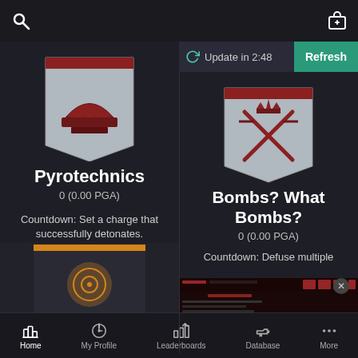[Figure (screenshot): Mobile game app UI showing two achievement cards: Pyrotechnics and Bombs? What Bombs?, with navigation bar at bottom]
Update in 2:48
Refresh
Pyrotechnics
0 (0.00 PGA)
Countdown: Set a charge that successfully detonates.
Bombs? What Bombs?
0 (0.00 PGA)
Countdown: Defuse multiple
Home  My Profile  Leaderboards  Database  More